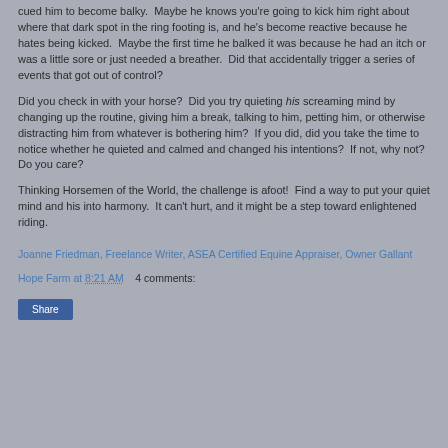cued him to become balky.  Maybe he knows you're going to kick him right about where that dark spot in the ring footing is, and he's become reactive because he hates being kicked.  Maybe the first time he balked it was because he had an itch or was a little sore or just needed a breather.  Did that accidentally trigger a series of events that got out of control?
Did you check in with your horse?  Did you try quieting his screaming mind by changing up the routine, giving him a break, talking to him, petting him, or otherwise distracting him from whatever is bothering him?  If you did, did you take the time to notice whether he quieted and calmed and changed his intentions?  If not, why not?  Do you care?
Thinking Horsemen of the World, the challenge is afoot!  Find a way to put your quiet mind and his into harmony.  It can't hurt, and it might be a step toward enlightened riding.
Joanne Friedman, Freelance Writer, ASEA Certified Equine Appraiser, Owner Gallant Hope Farm at 8:21 AM    4 comments:
Share